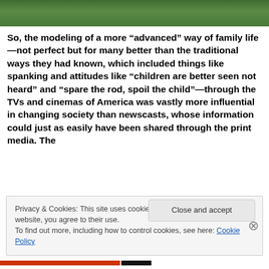[Figure (photo): Green foliage/vegetation photo strip at top of page]
So, the modeling of a more “advanced” way of family life—not perfect but for many better than the traditional ways they had known, which included things like spanking and attitudes like “children are better seen not heard” and “spare the rod, spoil the child”—through the TVs and cinemas of America was vastly more influential in changing society than newscasts, whose information could just as easily have been shared through the print media. The
Privacy & Cookies: This site uses cookies. By continuing to use this website, you agree to their use.
To find out more, including how to control cookies, see here: Cookie Policy
Close and accept